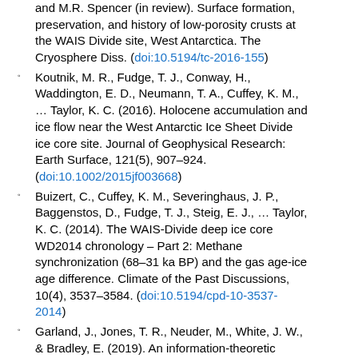and M.R. Spencer (in review). Surface formation, preservation, and history of low-porosity crusts at the WAIS Divide site, West Antarctica. The Cryosphere Diss. (doi:10.5194/tc-2016-155)
Koutnik, M. R., Fudge, T. J., Conway, H., Waddington, E. D., Neumann, T. A., Cuffey, K. M., … Taylor, K. C. (2016). Holocene accumulation and ice flow near the West Antarctic Ice Sheet Divide ice core site. Journal of Geophysical Research: Earth Surface, 121(5), 907–924. (doi:10.1002/2015jf003668)
Buizert, C., Cuffey, K. M., Severinghaus, J. P., Baggenstos, D., Fudge, T. J., Steig, E. J., … Taylor, K. C. (2014). The WAIS-Divide deep ice core WD2014 chronology &ndash; Part 2: Methane synchronization (68–31 ka BP) and the gas age-ice age difference. Climate of the Past Discussions, 10(4), 3537–3584. (doi:10.5194/cpd-10-3537-2014)
Garland, J., Jones, T. R., Neuder, M., White, J. W., & Bradley, E. (2019). An information-theoretic